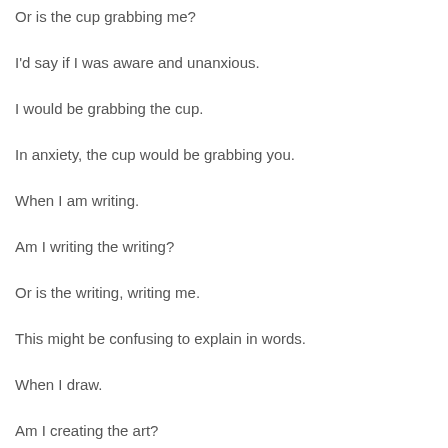Or is the cup grabbing me?
I'd say if I was aware and unanxious.
I would be grabbing the cup.
In anxiety, the cup would be grabbing you.
When I am writing.
Am I writing the writing?
Or is the writing, writing me.
This might be confusing to explain in words.
When I draw.
Am I creating the art?